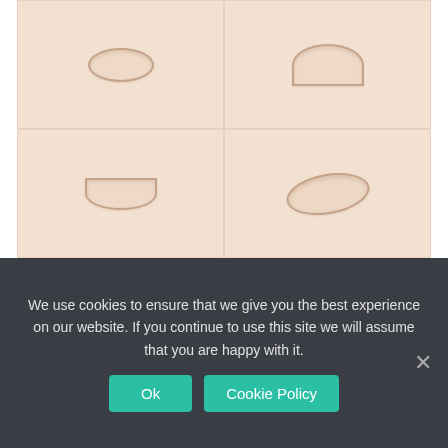[Figure (photo): Four calf implants displayed on a beige/peach background in a 2x2 grid. Top-left: oval/circular implant. Top-right: shield/teardrop shaped implant. Bottom-left: crescent/smile shaped implant. Bottom-right: eye/oval shaped implant.]
CALF IMPLANTS
We use cookies to ensure that we give you the best experience on our website. If you continue to use this site we will assume that you are happy with it.